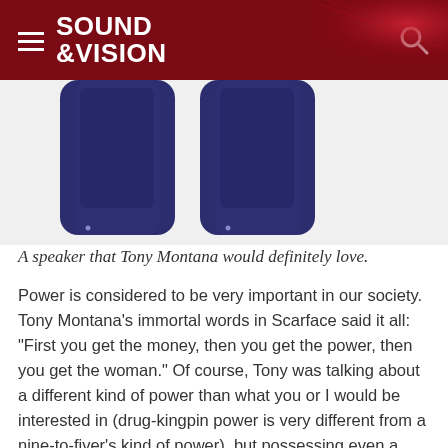SOUND &VISION
[Figure (photo): Two dark navy/blue angular speakers photographed against a white background, partially cropped at the top of the page]
A speaker that Tony Montana would definitely love.
Power is considered to be very important in our society. Tony Montana's immortal words in Scarface said it all: "First you get the money, then you get the power, then you get the woman." Of course, Tony was talking about a different kind of power than what you or I would be interested in (drug-kingpin power is very different from a nine-to-fiver's kind of power), but possessing even a minute amount of power can electrify one's self-esteem. Granted, Tony...